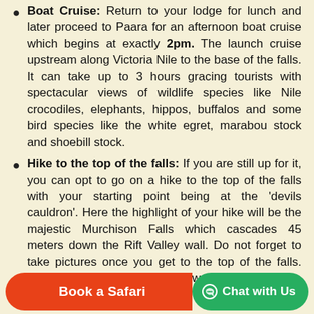Boat Cruise: Return to your lodge for lunch and later proceed to Paara for an afternoon boat cruise which begins at exactly 2pm. The launch cruise upstream along Victoria Nile to the base of the falls. It can take up to 3 hours gracing tourists with spectacular views of wildlife species like Nile crocodiles, elephants, hippos, buffalos and some bird species like the white egret, marabou stock and shoebill stock.
Hike to the top of the falls: If you are still up for it, you can opt to go on a hike to the top of the falls with your starting point being at the ‘devils cauldron’. Here the highlight of your hike will be the majestic Murchison Falls which cascades 45 meters down the Rift Valley wall. Do not forget to take pictures once you get to the top of the falls. This spot offers picturesque views of the Nile
Book a Safari
Chat with Us